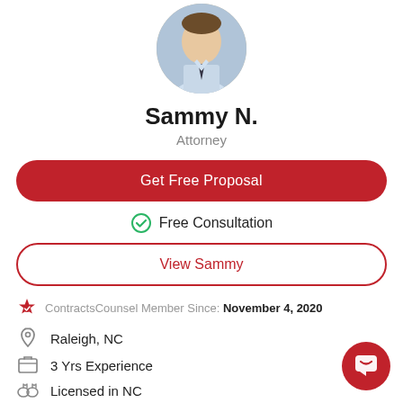[Figure (photo): Circular profile photo of attorney Sammy N., a man in a light blue shirt and dark tie]
Sammy N.
Attorney
Get Free Proposal
Free Consultation
View Sammy
ContractsCounsel Member Since: November 4, 2020
Raleigh, NC
3 Yrs Experience
Licensed in NC
Campbell University School of Law
Sammy Naji focuses his practice on assisting startups